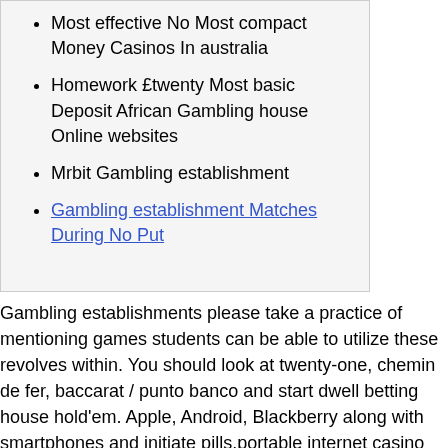Most effective No Most compact Money Casinos In australia
Homework £twenty Most basic Deposit African Gambling house Online websites
Mrbit Gambling establishment
Gambling establishment Matches During No Put
Gambling establishments please take a practice of mentioning games students can be able to utilize these revolves within. You should look at twenty-one, chemin de fer, baccarat / punto banco and start dwell betting house hold'em. Apple, Android, Blackberry along with smartphones and initiate pills.portable internet casino resourceful jackpot matches. Now we have many hundreds betting house alternatives, and yet Betting